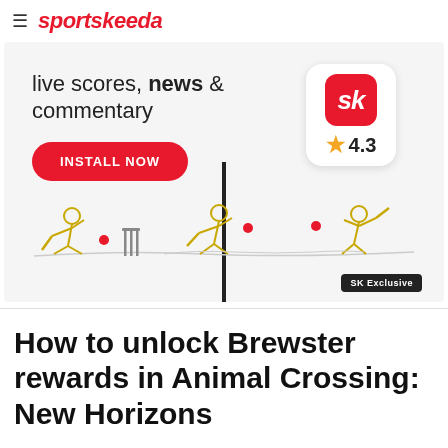sportskeeda
[Figure (illustration): Sportskeeda app advertisement banner showing cricket player illustrations, app icon with 'sk' logo, 4.3 star rating, 'live scores, news & commentary' text, and 'INSTALL NOW' button. SK Exclusive badge in bottom right.]
How to unlock Brewster rewards in Animal Crossing: New Horizons